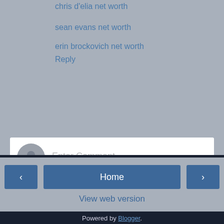chris d'elia net worth
sean evans net worth
erin brockovich net worth
Reply
[Figure (other): Comment input box with avatar icon and 'Enter Comment' placeholder text]
Thanks so much for your comments! I love them and they keep me writing. I really do read each one.
Home | < | > | View web version | Powered by Blogger.